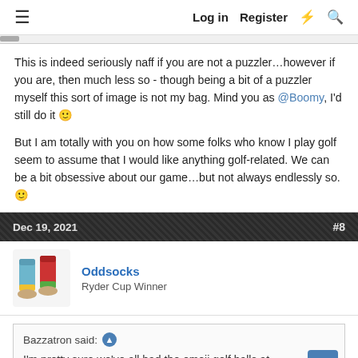Log in   Register
This is indeed seriously naff if you are not a puzzler…however if you are, then much less so - though being a bit of a puzzler myself this sort of image is not my bag. Mind you as @Boomy, I'd still do it 🙂

But I am totally with you on how some folks who know I play golf seem to assume that I would like anything golf-related. We can be a bit obsessive about our game…but not always endlessly so. 🙂
Dec 19, 2021   #8
Oddsocks
Ryder Cup Winner
Bazzatron said: ↑
I'm pretty sure we've all had the emoji golf balls at some point.
yup, and of the spirit of giving they went to the local charity shop.